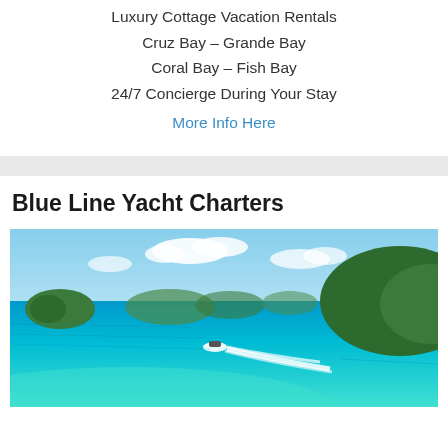Luxury Cottage Vacation Rentals
Cruz Bay – Grande Bay
Coral Bay – Fish Bay
24/7 Concierge During Your Stay
More Info Here
Blue Line Yacht Charters
[Figure (photo): A speedboat leaving a white wake on turquoise blue tropical waters, with green hilly islands and a partly cloudy sky in the background.]